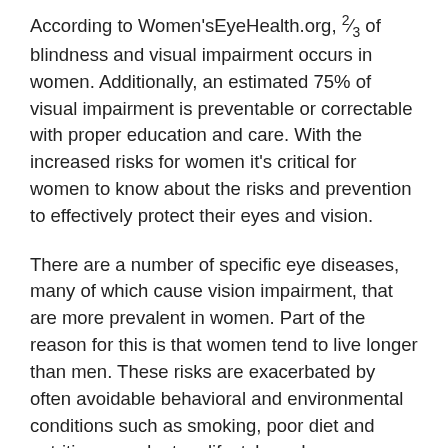According to Women'sEyeHealth.org, ⅔ of blindness and visual impairment occurs in women. Additionally, an estimated 75% of visual impairment is preventable or correctable with proper education and care. With the increased risks for women it's critical for women to know about the risks and prevention to effectively protect their eyes and vision.
There are a number of specific eye diseases, many of which cause vision impairment, that are more prevalent in women. Part of the reason for this is that women tend to live longer than men. These risks are exacerbated by often avoidable behavioral and environmental conditions such as smoking, poor diet and nutrition, a sedentary lifestyle and sun exposure to name a few.
Research shows that some of the statistics showing that women are at a higher risk of certain vision-threatening conditions depend on the living conditions and access to health care of the population being studied. Nevertheless, other eye conditions such as dry eye syndrome, autoimmune diseases related to the eyes (such as rheumatoid arthritis, Sjögren's Syndrome, systemic lupus enthematosus, and